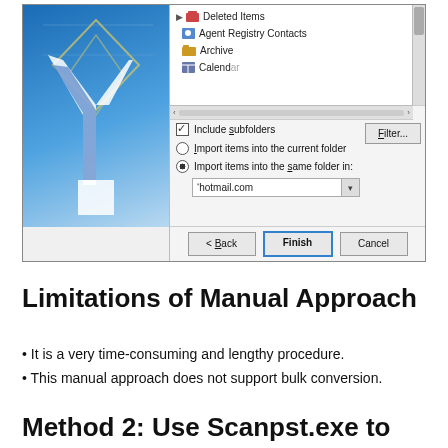[Figure (screenshot): Microsoft Outlook import dialog showing folder list with Deleted Items, Agent Registry Contacts, Archive, Calendar entries. Options include 'Include subfolders' checkbox, Filter button, radio buttons for 'Import items into the current folder' and 'Import items into the same folder in:', a dropdown showing '@hotmail.com', and Back, Finish, Cancel buttons.]
Limitations of Manual Approach
It is a very time-consuming and lengthy procedure.
This manual approach does not support bulk conversion.
Method 2: Use Scanpst.exe to Fix